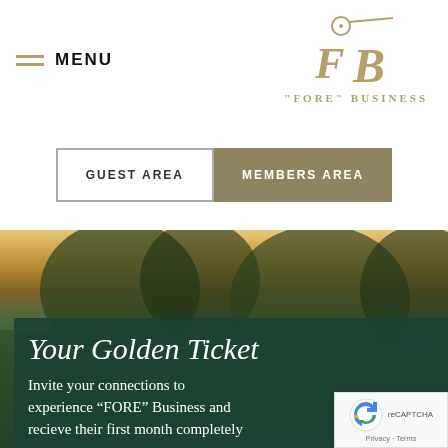MENU
[Figure (logo): Fore Business logo with golf club and ball icon, stylized FB letters, text "FORE" BUSINESS in gold]
GUEST AREA
MEMBERS AREA
[Figure (photo): Golf course scenic background with trees and golden sky]
Your Golden Ticket
Invite your connections to experience “FORE” Business and recieve their first month completely
[Figure (other): reCAPTCHA badge with Privacy and Terms links]